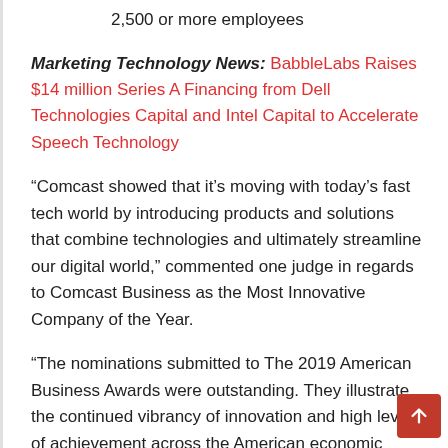2,500 or more employees
Marketing Technology News: BabbleLabs Raises $14 million Series A Financing from Dell Technologies Capital and Intel Capital to Accelerate Speech Technology
“Comcast showed that it’s moving with today’s fast tech world by introducing products and solutions that combine technologies and ultimately streamline our digital world,” commented one judge in regards to Comcast Business as the Most Innovative Company of the Year.
“The nominations submitted to The 2019 American Business Awards were outstanding. They illustrate the continued vibrancy of innovation and high level of achievement across the American economic landscape,” said Michael Gallagher, president and founder of the Stevie Awards.